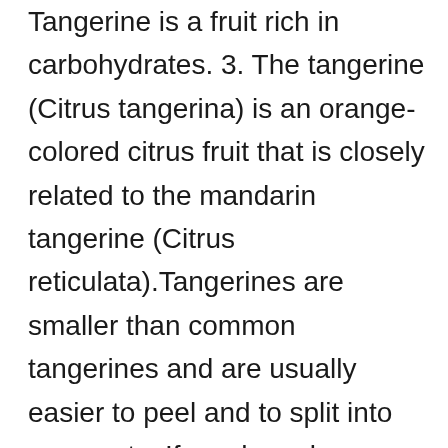Tangerine is a fruit rich in carbohydrates. 3. The tangerine (Citrus tangerina) is an orange-colored citrus fruit that is closely related to the mandarin tangerine (Citrus reticulata).Tangerines are smaller than common tangerines and are usually easier to peel and to split into segments. If you have been waiting for the fruit, now is the best time. How Long Does Coronavirus Live On Surfaces? It also contains plenty of fiber and protein. This oil is popular for its beauty benefits. So, wait no longer. The Guardian Nigeria Newspaper brings you the latest headlines, opinions, political news, business reports and international news. Nutritionvalue.org: Tangerines, raw